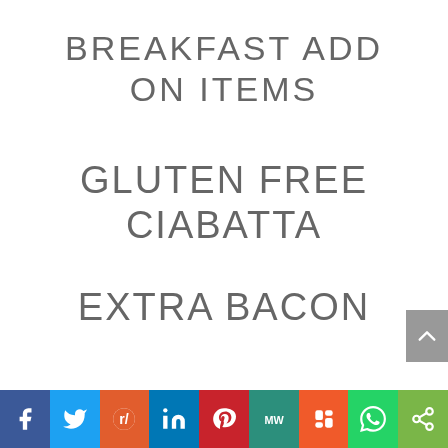BREAKFAST ADD ON ITEMS
GLUTEN FREE CIABATTA
EXTRA BACON
Social share bar: Facebook, Twitter, Reddit, LinkedIn, Pinterest, MixedWrench, Mix, WhatsApp, Share